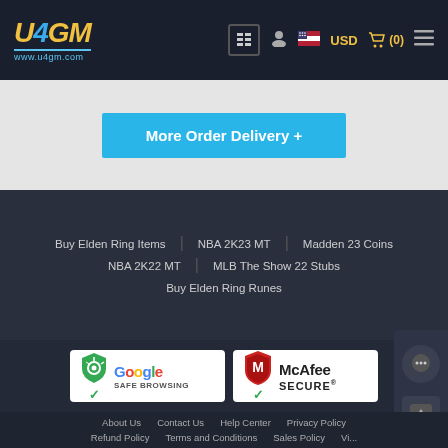U4GM www.u4gm.com — USD (0)
More Order Delivery +
Buy Elden Ring Items
NBA 2K23 MT
Madden 23 Coins
NBA 2K22 MT
MLB The Show 22 Stubs
Buy Elden Ring Runes
[Figure (logo): Google Safe Browsing badge with green shield and checkmark]
[Figure (logo): McAfee SECURE badge with red shield and checkmark]
About Us  Contact Us  Help Center  Privacy Policy  Refund Policy  Terms and Conditions  Sales Policy  Vi...